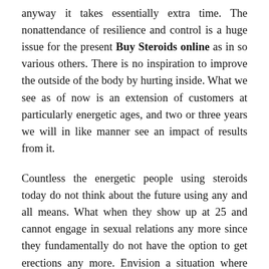anyway it takes essentially extra time. The nonattendance of resilience and control is a huge issue for the present Buy Steroids online as in so various others. There is no inspiration to improve the outside of the body by hurting inside. What we see as of now is an extension of customers at particularly energetic ages, and two or three years we will in like manner see an impact of results from it.
Countless the energetic people using steroids today do not think about the future using any and all means. What when they show up at 25 and cannot engage in sexual relations any more since they fundamentally do not have the option to get erections any more. Envision a situation where they can make it, anyway finds that they cannot be